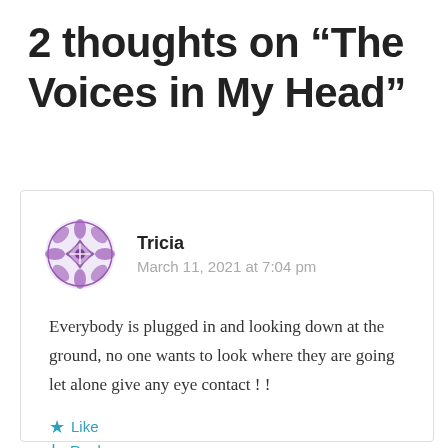2 thoughts on “The Voices in My Head”
Tricia
March 11, 2021 at 7:04 pm
Everybody is plugged in and looking down at the ground, no one wants to look where they are going let alone give any eye contact ! !
Like
Reply